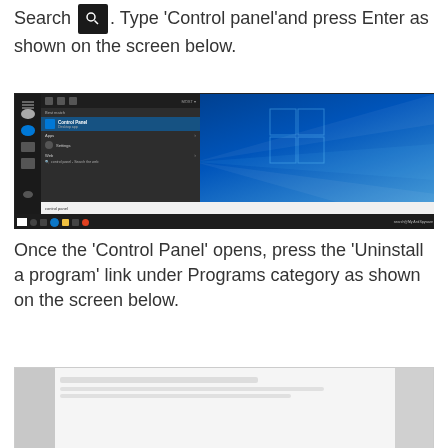Search [icon]. Type ‘Control panel’and press Enter as shown on the screen below.
[Figure (screenshot): Windows 10 Start Menu search showing 'Control Panel' as best match result, with Windows desktop background visible on the right side.]
Once the ‘Control Panel’ opens, press the ‘Uninstall a program’ link under Programs category as shown on the screen below.
[Figure (screenshot): Windows Control Panel screenshot showing Programs category with Uninstall a program link.]